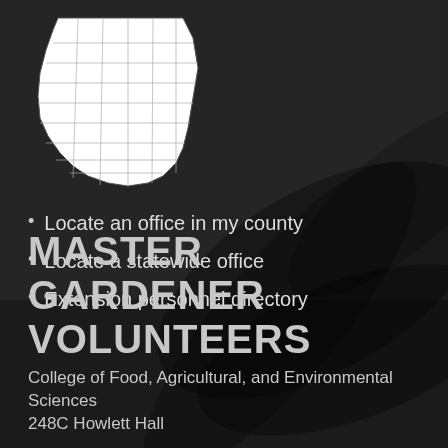[Figure (map): White county-level outline map of Ohio state on dark background]
Locate an office in my county
Locate a statewide office
Extension personnel directory
MASTER GARDENER VOLUNTEERS
College of Food, Agricultural, and Environmental Sciences
248C Howlett Hall